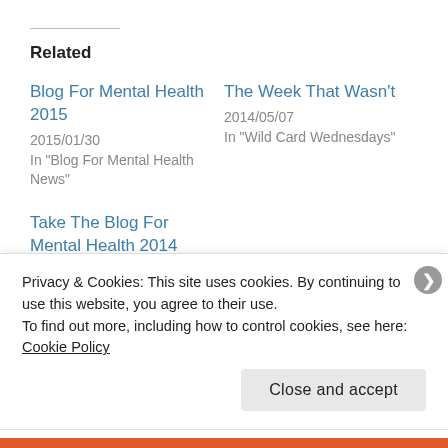Related
Blog For Mental Health 2015
2015/01/30
In "Blog For Mental Health News"
The Week That Wasn't
2014/05/07
In "Wild Card Wednesdays"
Take The Blog For Mental Health 2014 Pledge!
2014/03/25
In "Blog For Mental Health News"
Privacy & Cookies: This site uses cookies. By continuing to use this website, you agree to their use.
To find out more, including how to control cookies, see here: Cookie Policy
Close and accept